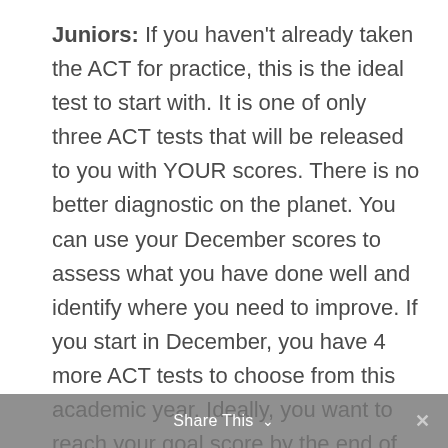Juniors: If you haven't already taken the ACT for practice, this is the ideal test to start with. It is one of only three ACT tests that will be released to you with YOUR scores. There is no better diagnostic on the planet. You can use your December scores to assess what you have done well and identify where you need to improve. If you start in December, you have 4 more ACT tests to choose from this academic year. Ideally, you want to reach your goal score by the end of your junior year so you can focus on college visits and applications your
Share This